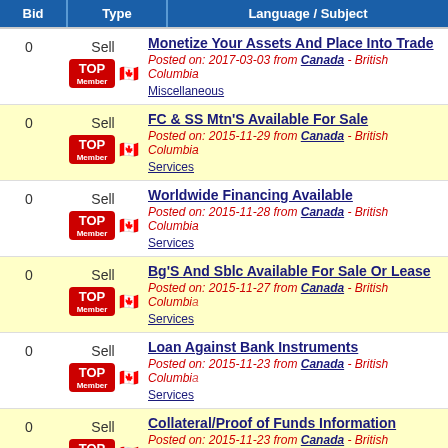| Bid | Type | Language / Subject |
| --- | --- | --- |
| 0 | Sell | Monetize Your Assets And Place Into Trade
Posted on: 2017-03-03 from Canada - British Columbia
Miscellaneous |
| 0 | Sell | FC & SS Mtn'S Available For Sale
Posted on: 2015-11-29 from Canada - British Columbia
Services |
| 0 | Sell | Worldwide Financing Available
Posted on: 2015-11-28 from Canada - British Columbia
Services |
| 0 | Sell | Bg'S And Sblc Available For Sale Or Lease
Posted on: 2015-11-27 from Canada - British Columbia
Services |
| 0 | Sell | Loan Against Bank Instruments
Posted on: 2015-11-23 from Canada - British Columbia
Services |
| 0 | Sell | Collateral/Proof of Funds Information
Posted on: 2015-11-23 from Canada - British Columbia
Services |
| 0 | Sell | Hard Assets Funding Program.
Posted on: 2015-11-20 from Canada - British Columbia
Services |
| 0 | Sell | Bank Instruments For Lease |